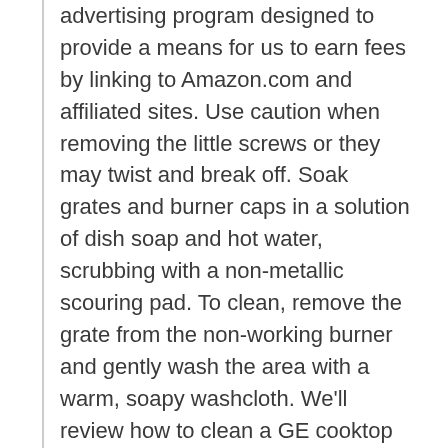advertising program designed to provide a means for us to earn fees by linking to Amazon.com and affiliated sites. Use caution when removing the little screws or they may twist and break off. Soak grates and burner caps in a solution of dish soap and hot water, scrubbing with a non-metallic scouring pad. To clean, remove the grate from the non-working burner and gently wash the area with a warm, soapy washcloth. We'll review how to clean a GE cooktop so that glass cooktops retain their shine without a scratch. Allow to sit for at least 3 hours or overnight. If neglected it just looks like a big grease pad in the middle of your kitchen.#CleanWithConfidence #HowToClean #KitchenWell good news, a slick, shimmering, shiny stove top is in your future because today I teach you how to clean your gas stove top with confidence!! In fact, they can be an excellent option for the daily maintenance of your gas stove.